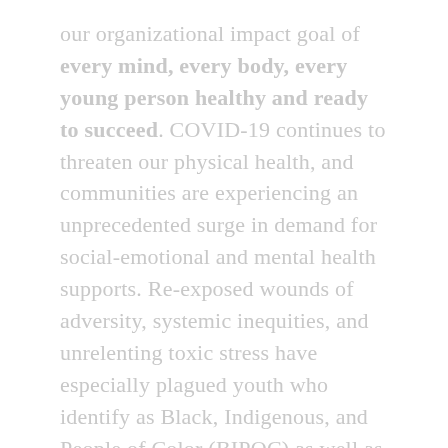our organizational impact goal of every mind, every body, every young person healthy and ready to succeed. COVID-19 continues to threaten our physical health, and communities are experiencing an unprecedented surge in demand for social-emotional and mental health supports. Re-exposed wounds of adversity, systemic inequities, and unrelenting toxic stress have especially plagued youth who identify as Black, Indigenous, and People of Color (BIPOC) as well as youth from under-resourced communities.
Bearing witness to the experiences of the past year allows each of us to reexamine and